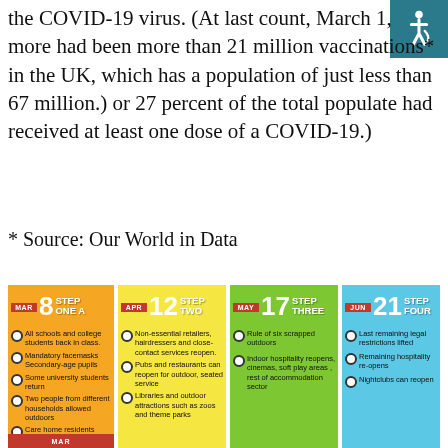the COVID-19 virus. (At last count, March 1, more had been more than 21 million vaccinations* in the UK, which has a population of just less than 67 million.) or 27 percent of the total populate had received at least one dose of a COVID-19.)
* Source: Our World in Data
[Figure (infographic): UK COVID-19 reopening roadmap showing four steps: Step One A (Mar 8), Step Two (Apr 12), Step Three (May 17), Step Four (Jun 21), each with bullet points listing what reopens at each stage.]